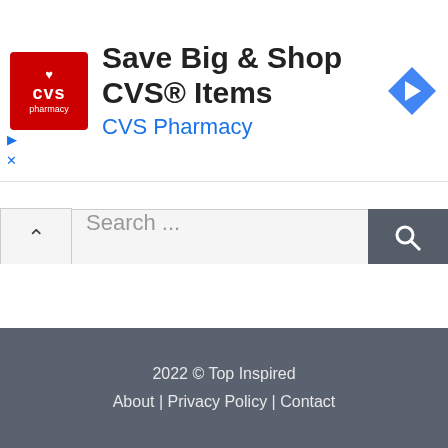[Figure (screenshot): CVS Pharmacy advertisement banner with red logo, text 'Save Big & Shop CVS® Items', 'CVS Pharmacy' in blue, and a blue navigation arrow icon on the right.]
[Figure (screenshot): Search bar with collapse chevron button on the left, placeholder text 'Search ...', and a dark grey search icon button on the right.]
2022 © Top Inspired
About | Privacy Policy | Contact